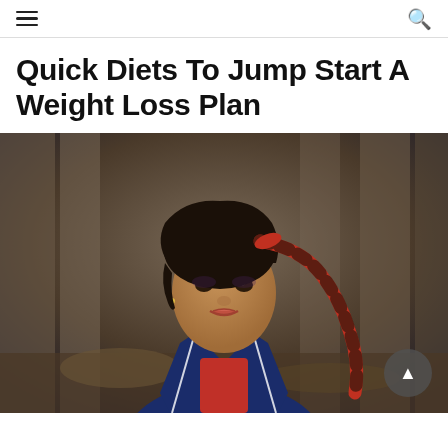≡  🔍
Quick Diets To Jump Start A Weight Loss Plan
[Figure (photo): A woman with dark hair in a red braided ponytail, wearing a blue athletic jacket over a red top, posed in front of a stone background. A scroll-to-top button (▲) is overlaid in the bottom-right corner.]